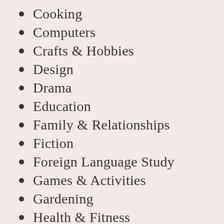Cooking
Computers
Crafts & Hobbies
Design
Drama
Education
Family & Relationships
Fiction
Foreign Language Study
Games & Activities
Gardening
Health & Fitness
History
House & Home
Humor
Juvenile Nonfiction